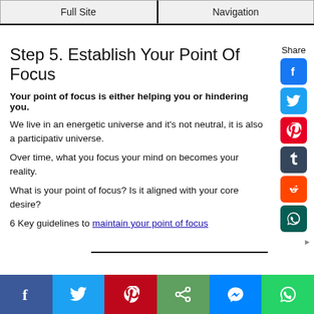Full Site | Navigation
Step 5. Establish Your Point Of Focus
Your point of focus is either helping you or hindering you.
We live in an energetic universe and it's not neutral, it is also a participative universe.
Over time, what you focus your mind on becomes your reality.
What is your point of focus? Is it aligned with your core desire?
6 Key guidelines to maintain your point of focus
Social share bar: Facebook, Twitter, Pinterest, Share, Messenger, WhatsApp